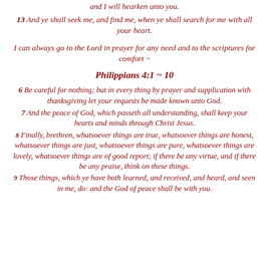and I will hearken unto you.
13 And ye shall seek me, and find me, when ye shall search for me with all your heart.
I can always go to the Lord in prayer for any need and to the scriptures for comfort ~
Philippians 4:1 ~ 10
6 Be careful for nothing; but in every thing by prayer and supplication with thanksgiving let your requests be made known unto God.
7 And the peace of God, which passeth all understanding, shall keep your hearts and minds through Christ Jesus.
8 Finally, brethren, whatsoever things are true, whatsoever things are honest, whatsoever things are just, whatsoever things are pure, whatsoever things are lovely, whatsoever things are of good report; if there be any virtue, and if there be any praise, think on these things.
9 Those things, which ye have both learned, and received, and heard, and seen in me, do: and the God of peace shall be with you.